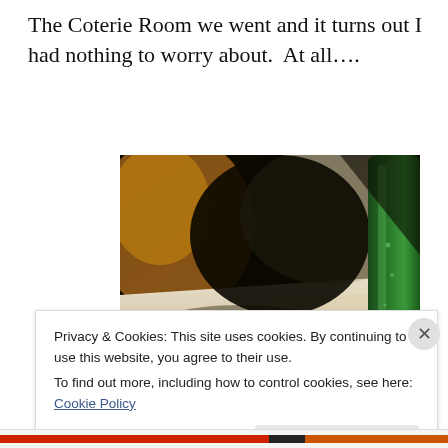The Coterie Room we went and it turns out I had nothing to worry about.  At all….
[Figure (photo): Close-up blurred photo of a dining table setting with a green wine/water bottle on the right side and dark background with warm tones]
Privacy & Cookies: This site uses cookies. By continuing to use this website, you agree to their use.
To find out more, including how to control cookies, see here: Cookie Policy
Close and accept